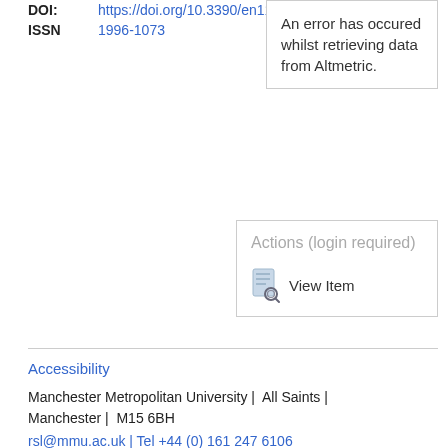DOI: https://doi.org/10.3390/en110...
ISSN 1996-1073
An error has occured whilst retrieving data from Altmetric.
Actions (login required)
View Item
Accessibility
Manchester Metropolitan University | All Saints | Manchester | M15 6BH
rsl@mmu.ac.uk | Tel +44 (0) 161 247 6106